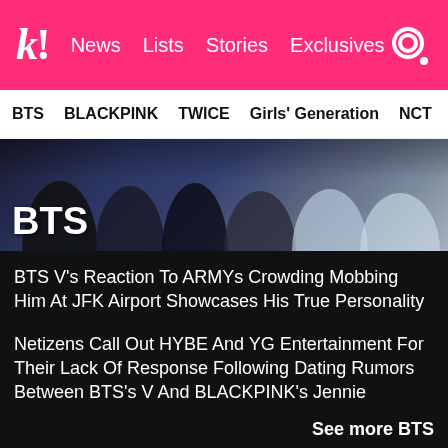k! News Lists Stories Exclusives
BTS BLACKPINK TWICE Girls' Generation NCT aespa
[Figure (photo): Group photo of BTS members with BTS title overlay]
BTS V's Reaction To ARMYs Crowding Mobbing Him At JFK Airport Showcases His True Personality
Netizens Call Out HYBE And YG Entertainment For Their Lack Of Response Following Dating Rumors Between BTS's V And BLACKPINK's Jennie
BTS's Jin Is Aware Of How Much Fans Love Him, And He Has One Thing To Say About It
Here's Something That BTS's V Does That “Triggers” The Other Members
See more BTS